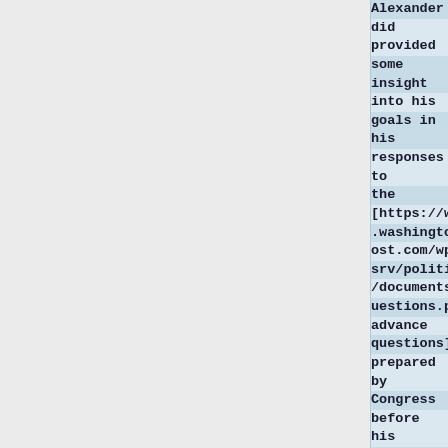Alexander did provided some insight into his goals in his responses to the [https://www.washingtonpost.com/wp-srv/politics/documents/questions.pdf advance questions] prepared by Congress before his confirmation hearing. Specifically, officials